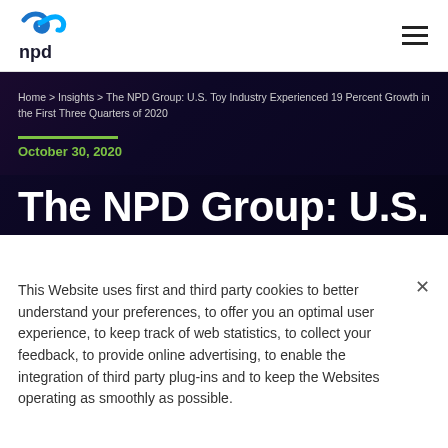NPD logo and navigation menu
Home > Insights > The NPD Group: U.S. Toy Industry Experienced 19 Percent Growth in the First Three Quarters of 2020
October 30, 2020
The NPD Group: U.S.
This Website uses first and third party cookies to better understand your preferences, to offer you an optimal user experience, to keep track of web statistics, to collect your feedback, to provide online advertising, to enable the integration of third party plug-ins and to keep the Websites operating as smoothly as possible.